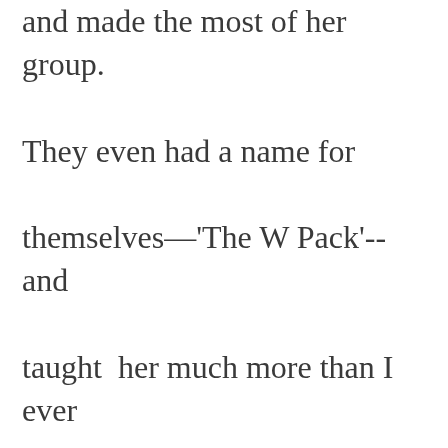and made the most of her group. They even had a name for themselves—'The W Pack'--and taught  her much more than I ever could have about how to be a priest.     The complaint of the committee blocking her ordination was that she didn't have a full-blown “Anglican